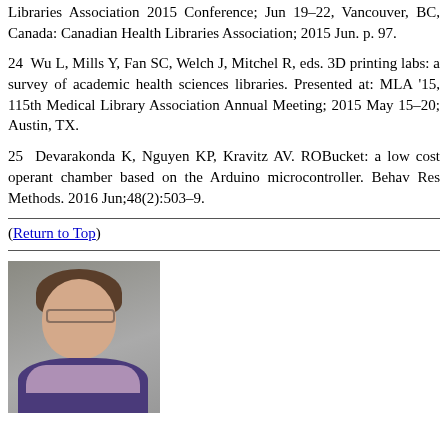Libraries Association 2015 Conference; Jun 19–22, Vancouver, BC, Canada: Canadian Health Libraries Association; 2015 Jun. p. 97.
24  Wu L, Mills Y, Fan SC, Welch J, Mitchel R, eds. 3D printing labs: a survey of academic health sciences libraries. Presented at: MLA '15, 115th Medical Library Association Annual Meeting; 2015 May 15–20; Austin, TX.
25  Devarakonda K, Nguyen KP, Kravitz AV. ROBucket: a low cost operant chamber based on the Arduino microcontroller. Behav Res Methods. 2016 Jun;48(2):503–9.
(Return to Top)
[Figure (photo): Portrait photo of a woman with brown hair, glasses, wearing a purple jacket and patterned scarf, smiling.]